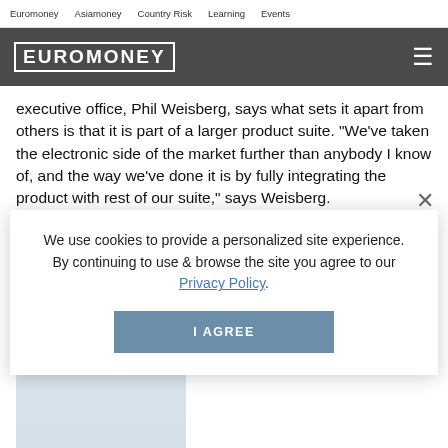Euromoney   Asiamoney   Country Risk   Learning   Events
[Figure (logo): Euromoney logo in white text on dark grey background with hamburger menu icon]
executive office, Phil Weisberg, says what sets it apart from others is that it is part of a larger product suite. "We've taken the electronic side of the market further than anybody I know of, and the way we've done it is by fully integrating the product with rest of our suite," says Weisberg.
We use cookies to provide a personalized site experience.
By continuing to use & browse the site you agree to our Privacy Policy.
I AGREE
[Figure (photo): Partial photo of a person (Phil Weisberg) visible behind the cookie consent overlay]